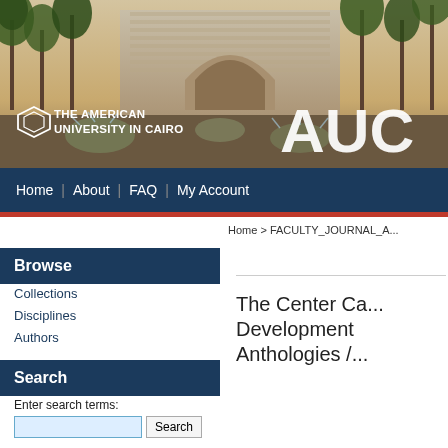[Figure (photo): Header photo of The American University in Cairo campus showing a building with large arch, palm trees, fountains, and outdoor plaza area. The AUC logo and full university name appear overlaid in white text on the left, and 'AUC' in large white letters on the right.]
Home | About | FAQ | My Account
Home > FACULTY_JOURNAL_A...
Browse
Collections
Disciplines
Authors
Search
Enter search terms:
The Center Ca... Development Anthologies /...